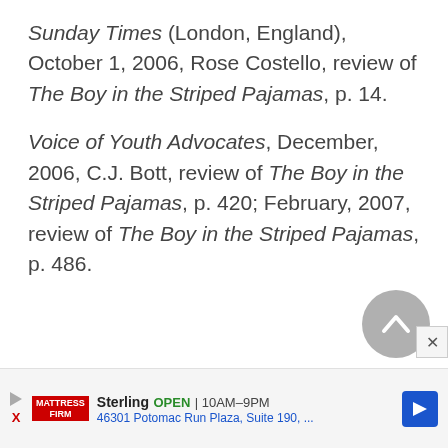Sunday Times (London, England), October 1, 2006, Rose Costello, review of The Boy in the Striped Pajamas, p. 14.
Voice of Youth Advocates, December, 2006, C.J. Bott, review of The Boy in the Striped Pajamas, p. 420; February, 2007, review of The Boy in the Striped Pajamas, p. 486.